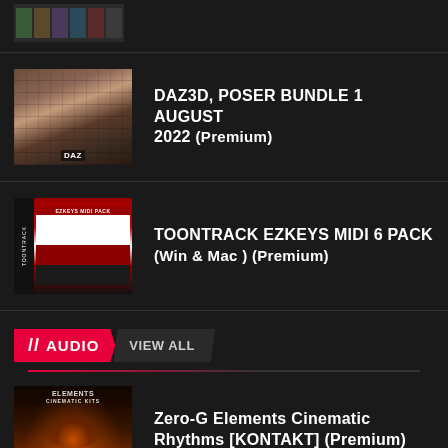[Figure (screenshot): Partial product thumbnail strip at top of page]
DAZ3D, POSER BUNDLE 1 AUGUST 2022 (Premium)
TOONTRACK EZKEYS MIDI 6 PACK (Win & Mac ) (Premium)
AUDIO  VIEW ALL
Zero-G Elements Cinematic Rhythms [KONTAKT] (Premium)